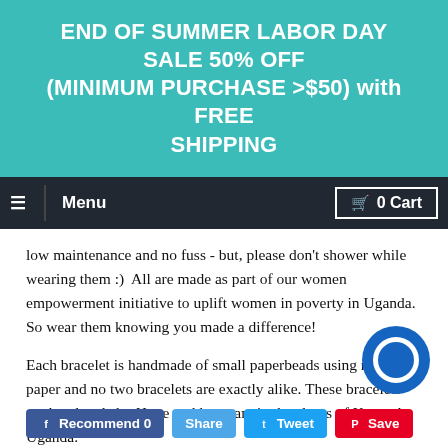END OF SUMMER LABOR DAY SALE 50% OFF (MINIMUM PURCHASE >$50) with FREE SHIPPING
≡ Menu   🛒 0 Cart
low maintenance and no fuss - but, please don't shower while wearing them :)  All are made as part of our women empowerment initiative to uplift women in poverty in Uganda.  So wear them knowing you made a difference!
Each bracelet is handmade of small paperbeads using recycled paper and no two bracelets are exactly alike. These bracelets are handmade by Hope and her team in the slums of Kampala, Uganda.
Recommend 0   Share   Tweet   Save